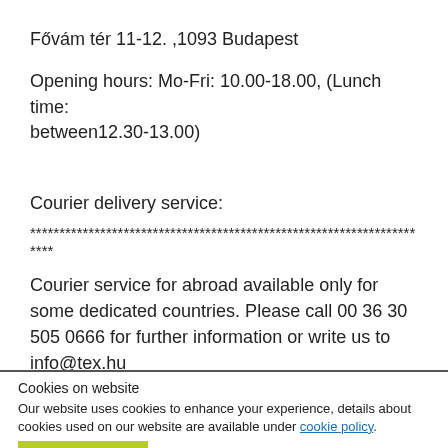Fővám tér 11-12. ,1093 Budapest
Opening hours: Mo-Fri: 10.00-18.00, (Lunch time: between12.30-13.00)
Courier delivery service:
**********************************************************************
Courier service for abroad available only for some dedicated countries. Please call 00 36 30 505 0666 for further information or write us to info@tex.hu
Cookies on website
Our website uses cookies to enhance your experience, details about cookies used on our website are available under cookie policy.